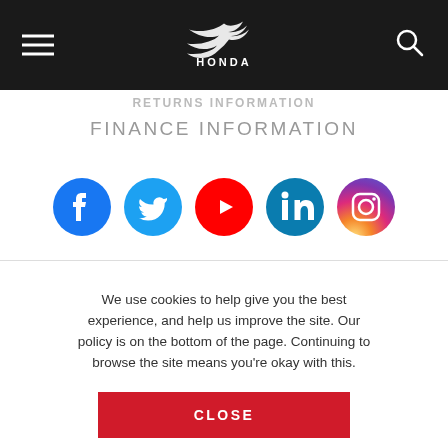Honda website header with navigation menu icon, Honda logo, and search icon
RETURNS INFORMATION
FINANCE INFORMATION
[Figure (illustration): Row of five social media icons: Facebook (blue), Twitter (cyan), YouTube (red), LinkedIn (teal), Instagram (purple gradient)]
We use cookies to help give you the best experience, and help us improve the site. Our policy is on the bottom of the page. Continuing to browse the site means you're okay with this.
CLOSE